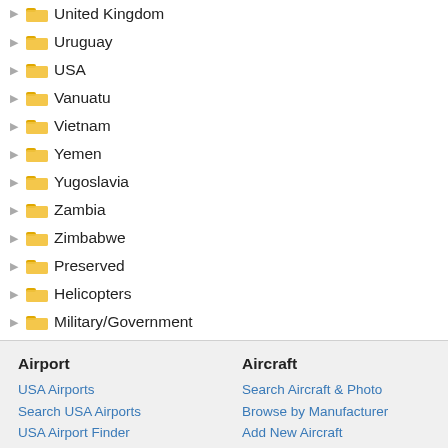United Kingdom
Uruguay
USA
Vanuatu
Vietnam
Yemen
Yugoslavia
Zambia
Zimbabwe
Preserved
Helicopters
Military/Government
Blimps
Airport Vehicles
Airport: USA Airports, Search USA Airports, USA Airport Finder | Aircraft: Search Aircraft & Photo, Browse by Manufacturer, Add New Aircraft